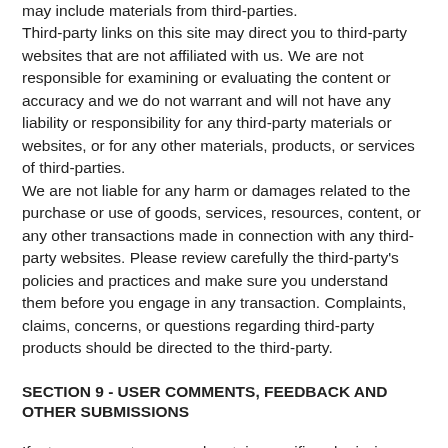may include materials from third-parties. Third-party links on this site may direct you to third-party websites that are not affiliated with us. We are not responsible for examining or evaluating the content or accuracy and we do not warrant and will not have any liability or responsibility for any third-party materials or websites, or for any other materials, products, or services of third-parties.
We are not liable for any harm or damages related to the purchase or use of goods, services, resources, content, or any other transactions made in connection with any third-party websites. Please review carefully the third-party's policies and practices and make sure you understand them before you engage in any transaction. Complaints, claims, concerns, or questions regarding third-party products should be directed to the third-party.
SECTION 9 - USER COMMENTS, FEEDBACK AND OTHER SUBMISSIONS
If, at our request, you send certain specific submissions (for example contest entries) or without a request from us you send creative ideas, suggestions, proposals, plans, or other